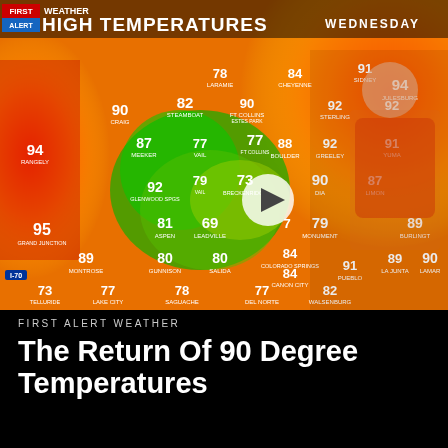[Figure (screenshot): TV weather broadcast screenshot showing Colorado high temperature map with color-coded heat display (green mountains, orange/red plains). Weather presenter visible on right. Top banner reads FIRST ALERT WEATHER HIGH TEMPERATURES WEDNESDAY. Temperature values shown for numerous Colorado cities.]
FIRST ALERT WEATHER
The Return Of 90 Degree Temperatures